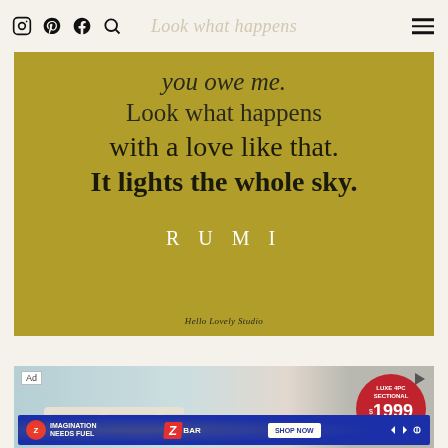[Figure (illustration): Gold/olive background quote card with Rumi quote text in dark serif and white author name. Quote reads: 'you owe me. Look what happens with a love like that. It lights the whole sky.' — RUMI. Attributed to Hello Lovely Studio.]
[Figure (photo): Advertisement banner showing a white living room sofa sectional with a red badge showing LUXE 4PC SECTIONAL $1999 EVERYDAY LOW PRICE]
[Figure (infographic): Blue advertisement banner for Clif Kid ZBAR with text IMAGINATION NEEDS FUEL and SHOP NOW button]